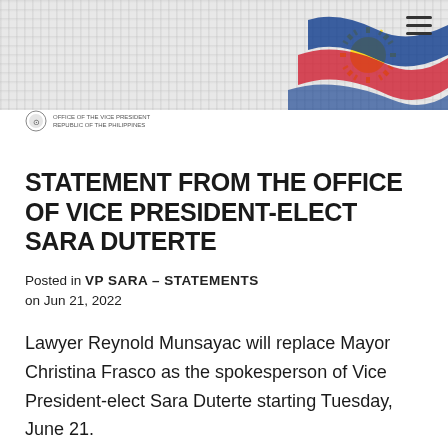[Figure (illustration): Philippine government website header with crowd background and Philippine flag decorative element in top right corner, plus a logo of the Office of the Vice President]
STATEMENT FROM THE OFFICE OF VICE PRESIDENT-ELECT SARA DUTERTE
Posted in VP SARA - STATEMENTS on Jun 21, 2022
Lawyer Reynold Munsayac will replace Mayor Christina Frasco as the spokesperson of Vice President-elect Sara Duterte starting Tuesday, June 21.
The Vice President-elect is grateful for Mayor Frasco's help